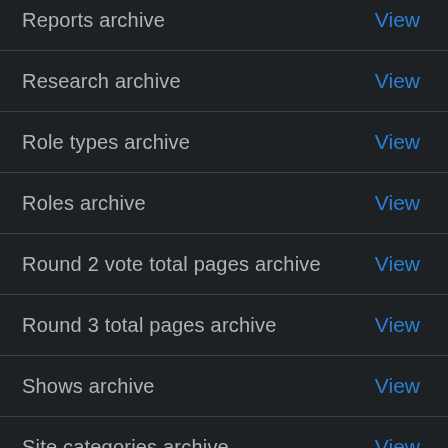Reports archive — View
Research archive — View
Role types archive — View
Roles archive — View
Round 2 vote total pages archive — View
Round 3 total pages archive — View
Shows archive — View
Site categories archive — View
Site support archive — View
Site types archive — View